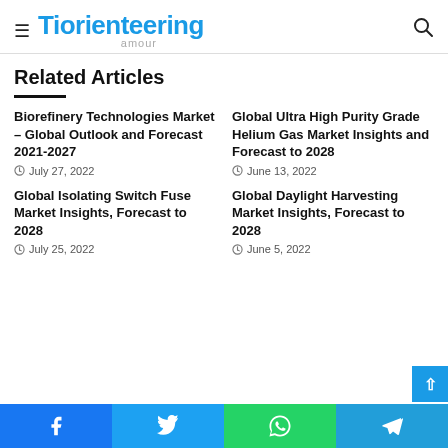Tiorienteering
Related Articles
Biorefinery Technologies Market – Global Outlook and Forecast 2021-2027
July 27, 2022
Global Ultra High Purity Grade Helium Gas Market Insights and Forecast to 2028
June 13, 2022
Global Isolating Switch Fuse Market Insights, Forecast to 2028
July 25, 2022
Global Daylight Harvesting Market Insights, Forecast to 2028
June 5, 2022